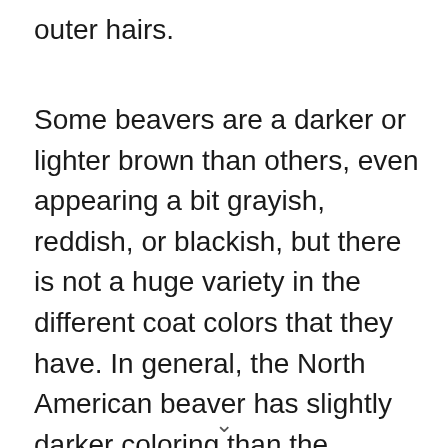outer hairs.
Some beavers are a darker or lighter brown than others, even appearing a bit grayish, reddish, or blackish, but there is not a huge variety in the different coat colors that they have. In general, the North American beaver has slightly darker coloring than the Eurasian beaver, though they are